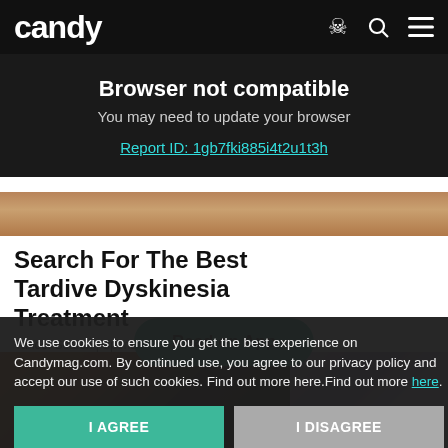candy
Browser not compatible
You may need to update your browser
Report ID: 1gb7fki885i4t2u1t3h
[Figure (photo): Partial background image strip]
Search For The Best Tardive Dyskinesia Treatment
Yahoo! Search | Sponsored
Search Now
Read on App
[Figure (photo): Two photos of people below the ad card]
We use cookies to ensure you get the best experience on Candymag.com. By continued use, you agree to our privacy policy and accept our use of such cookies. Find out more here.Find out more here.
I AGREE
I DISAGREE